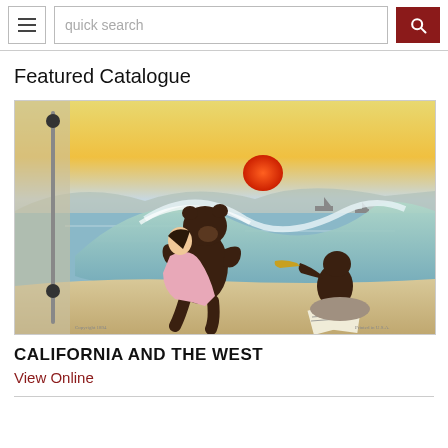quick search
Featured Catalogue
[Figure (illustration): Vintage illustrated catalogue cover showing anthropomorphic bears dancing on a beach at sunset with ocean waves. One bear dances with a woman in a pink dress, another bear sits playing a horn on rocks. Background shows a red sun setting over blue water with ships on the horizon.]
CALIFORNIA AND THE WEST
View Online